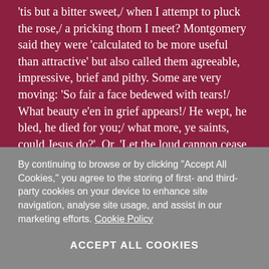'tis but a bitter sweet,/ when I attempt to pluck the rose,/ a pricking thorn I meet? Montgomery said they were 'calculated to be more useful than attractive' but also called them agreeable, impressive, brief and pithy. Some are very moving: 'So fair a face bedewed with tears!/ What beauty e'en in grief appears!/ He wept, he bled, he died for you;/ what more, ye saints, could Jesus do?'. Or, 'Let the loud cannon cease to roar,/ the warlike trump no longer sound;/ the din of arms be heard no more,/ nor human blood pollute the ground' (from On Britain, long a favoured isle). Few if any Baptists wrote more hymns than he did; the 1967 edn of the Baptist Hymn Book...
By continuing to browse or by clicking "Accept All Cookies," you agree to the storing of first- and third-party cookies on your device to enhance site navigation, analyse site usage, and assist in our marketing efforts. Cookie Policy
ACCEPT ALL COOKIES